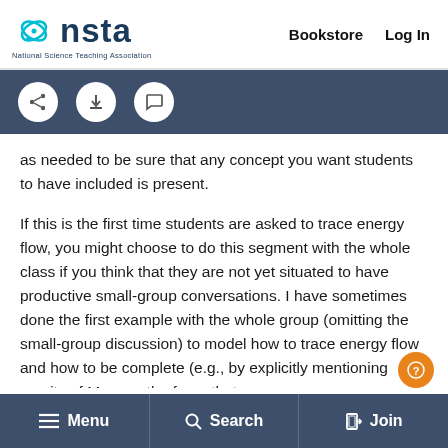[Figure (logo): NSTA National Science Teaching Association logo with cyan leaf/atom icon]
Bookstore   Log In
[Figure (screenshot): Toolbar with share, download, and comment icon buttons on dark blue background]
as needed to be sure that any concept you want students to have included is present.

If this is the first time students are asked to trace energy flow, you might choose to do this segment with the whole class if you think that they are not yet situated to have productive small-group conversations. I have sometimes done the first example with the whole group (omitting the small-group discussion) to model how to trace energy flow and how to be complete (e.g., by explicitly mentioning gravity of Mars as the force that causes
Menu   Search   Join